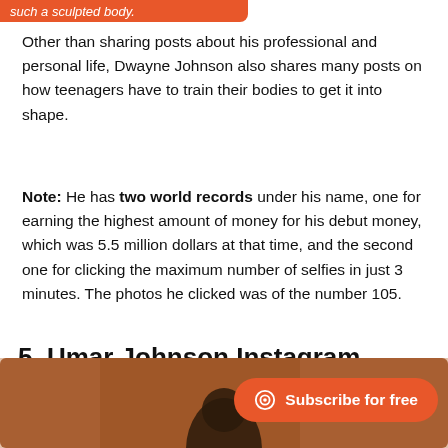such a sculpted body.
Other than sharing posts about his professional and personal life, Dwayne Johnson also shares many posts on how teenagers have to train their bodies to get it into shape.
Note: He has two world records under his name, one for earning the highest amount of money for his debut money, which was 5.5 million dollars at that time, and the second one for clicking the maximum number of selfies in just 3 minutes. The photos he clicked was of the number 105.
5. Umar Johnson Instagram Profile
[Figure (photo): Photo of a person, partially visible, warm brown background]
Subscribe for free